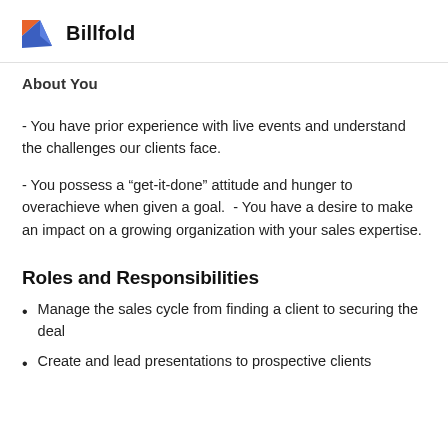Billfold
About You
- You have prior experience with live events and understand the challenges our clients face.
- You possess a “get-it-done” attitude and hunger to overachieve when given a goal.  - You have a desire to make an impact on a growing organization with your sales expertise.
Roles and Responsibilities
Manage the sales cycle from finding a client to securing the deal
Create and lead presentations to prospective clients